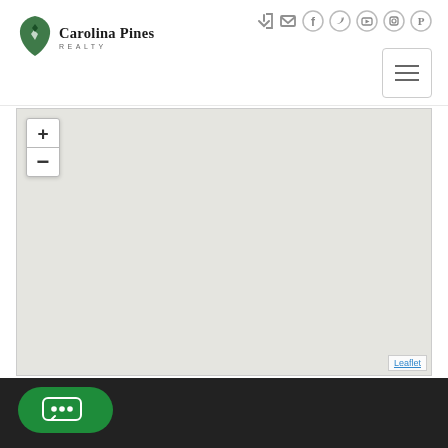[Figure (logo): Carolina Pines Realty logo with South Carolina state shape icon in dark green and serif text]
[Figure (screenshot): Top navigation icons: login arrow, email envelope, Facebook, Twitter, YouTube, Instagram, Pinterest circles; hamburger menu button]
[Figure (map): Leaflet interactive map showing a blank grey-beige tile map with zoom in (+) and zoom out (-) controls on the upper left, and Leaflet attribution link in the lower right]
[Figure (screenshot): Dark footer bar with green rounded chat button showing three white dots (speech bubble icon)]